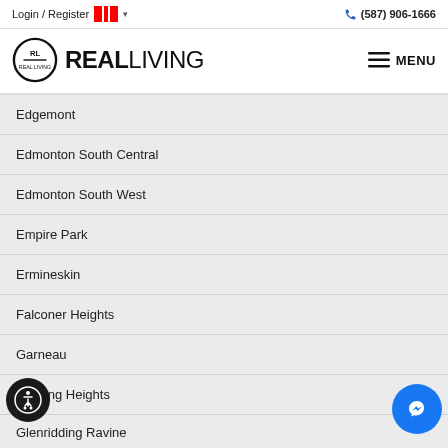Login / Register  (587) 906-1666
[Figure (logo): RL Real Living logo with circular RL emblem and REAL LIVING text, plus hamburger menu icon with MENU text]
Edgemont
Edmonton South Central
Edmonton South West
Empire Park
Ermineskin
Falconer Heights
Garneau
Glenridding Heights
Glenridding Ravine